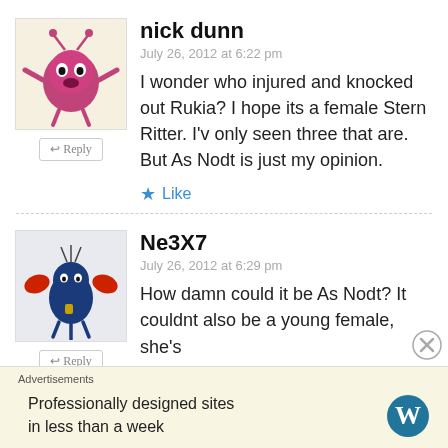[Figure (illustration): Avatar of nick dunn – cartoon pink/purple monster figure with antennae]
nick dunn
July 26, 2012 at 6:22 pm
I wonder who injured and knocked out Rukia? I hope its a female Stern Ritter. I'v only seen three that are. But As Nodt is just my opinion.
Like
[Figure (illustration): Avatar of Ne3X7 – cartoon blue bird/crab creature]
Ne3X7
July 26, 2012 at 6:29 pm
How damn could it be As Nodt? It couldnt also be a young female, she's
Advertisements
Professionally designed sites in less than a week